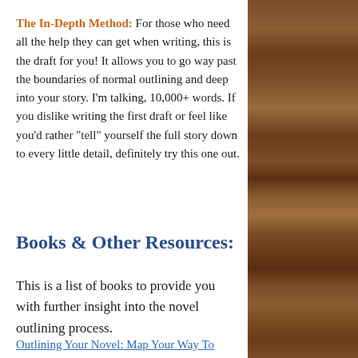The In-Depth Method: For those who need all the help they can get when writing, this is the draft for you! It allows you to go way past the boundaries of normal outlining and deep into your story. I'm talking, 10,000+ words. If you dislike writing the first draft or feel like you'd rather "tell" yourself the full story down to every little detail, definitely try this one out.
Books & Other Resources:
This is a list of books to provide you with further insight into the novel outlining process.
Outlining Your Novel: Map Your Way To